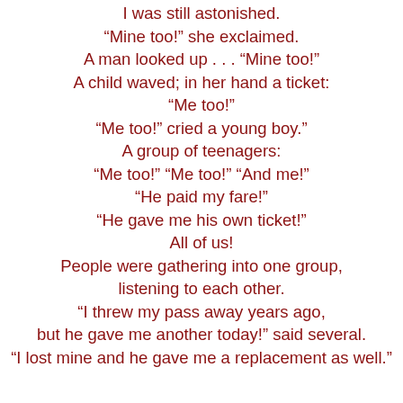I was still astonished.
“Mine too!” she exclaimed.
A man looked up . . . “Mine too!”
A child waved; in her hand a ticket:
“Me too!”
“Me too!” cried a young boy.”
A group of teenagers:
“Me too!” “Me too!” “And me!”
“He paid my fare!”
“He gave me his own ticket!”
All of us!
People were gathering into one group,
listening to each other.
“I threw my pass away years ago,
but he gave me another today!” said several.
“I lost mine and he gave me a replacement as well.”